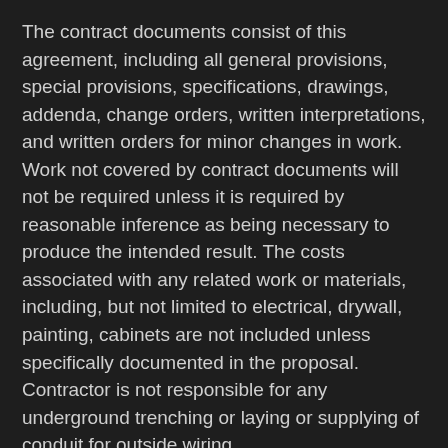The contract documents consist of this agreement, including all general provisions, special provisions, specifications, drawings, addenda, change orders, written interpretations, and written orders for minor changes in work. Work not covered by contract documents will not be required unless it is required by reasonable inference as being necessary to produce the intended result. The costs associated with any related work or materials, including, but not limited to electrical, drywall, painting, cabinets are not included unless specifically documented in the proposal. Contractor is not responsible for any underground trenching or laying or supplying of conduit for outside wiring.
Time
The contract documents consist of this agreement, including all general provisions, special provisions, specifications, drawings, addenda, change orders, written